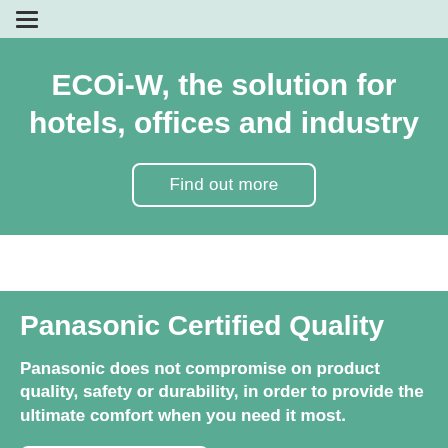≡
ECOi-W, the solution for hotels, offices and industry
Find out more
Panasonic Certified Quality
Panasonic does not compromise on product quality, safety or durability, in order to provide the ultimate comfort when you need it most.
FIND OUT MORE